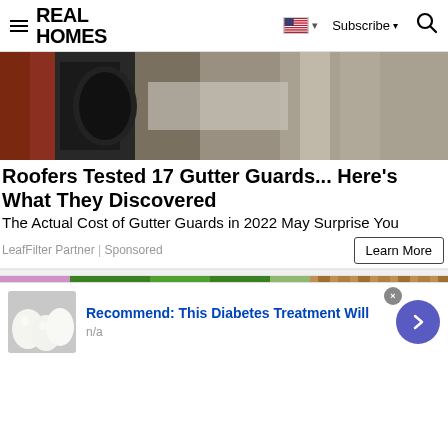REAL HOMES
[Figure (photo): Close-up photo of a gutter or drain pipe area, showing debris and stonework, used as hero image for gutter guard advertisement]
Roofers Tested 17 Gutter Guards... Here's What They Discovered
The Actual Cost of Gutter Guards in 2022 May Surprise You
LeafFilter Partner | Sponsored
[Figure (photo): Photo of a garden with green plants and wooden fence, used as hero image for second advertisement]
[Figure (photo): Small thumbnail image of white eggs on gray background, used in overlay ad]
Recommend: This Diabetes Treatment Will
n/a